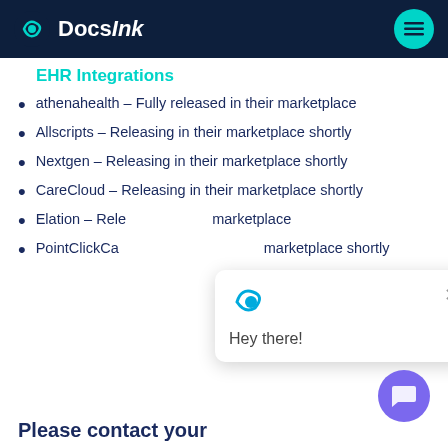DocsInk
EHR Integrations
athenahealth – Fully released in their marketplace
Allscripts – Releasing in their marketplace shortly
Nextgen – Releasing in their marketplace shortly
CareCloud – Releasing in their marketplace shortly
Elation – Releasing in their marketplace shortly
PointClickCare – Releasing in their marketplace shortly
Please contact your